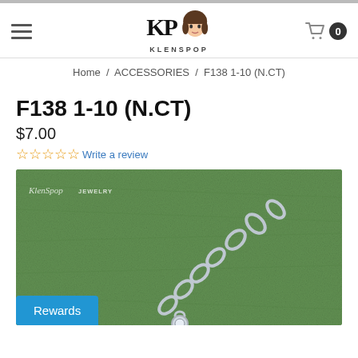KLENSPOP — navigation header with hamburger menu, logo, and cart (0 items)
Home / ACCESSORIES / F138 1-10 (N.CT)
F138 1-10 (N.CT)
$7.00
☆☆☆☆☆ Write a review
[Figure (photo): Close-up photo of a silver chain necklace with a small crystal pendant on a green textured background. KLENSPOP JEWELRY watermark in top left corner.]